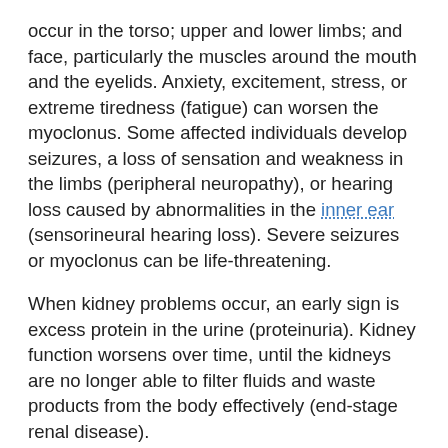occur in the torso; upper and lower limbs; and face, particularly the muscles around the mouth and the eyelids. Anxiety, excitement, stress, or extreme tiredness (fatigue) can worsen the myoclonus. Some affected individuals develop seizures, a loss of sensation and weakness in the limbs (peripheral neuropathy), or hearing loss caused by abnormalities in the inner ear (sensorineural hearing loss). Severe seizures or myoclonus can be life-threatening.
When kidney problems occur, an early sign is excess protein in the urine (proteinuria). Kidney function worsens over time, until the kidneys are no longer able to filter fluids and waste products from the body effectively (end-stage renal disease).
AMRF syndrome typically begins causing symptoms between ages 15 and 25, but it can appear at younger or older ages. The age of onset and the course of the condition vary, even among members of the same family. Either the movement problems or kidney disease can occur first, or